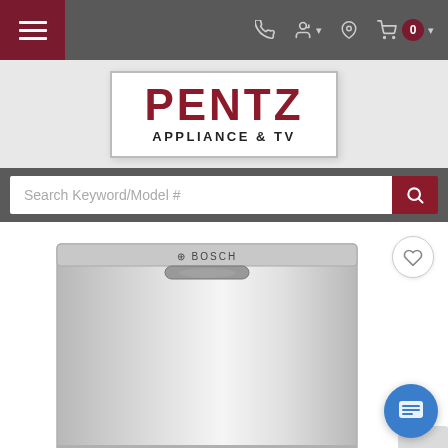[Figure (screenshot): Website navigation bar with hamburger menu on left (dark red background), and icons (phone, user, location, cart with 0 badge) on right, all on dark grey background]
[Figure (logo): Pentz Appliance & TV logo in a white box with grey border. PENTZ in large dark red bold text, APPLIANCE & TV in smaller black text below]
[Figure (screenshot): Search bar with placeholder text 'Search Keyword/Model #' and a dark red search button with magnifying glass icon]
[Figure (photo): Bosch stainless steel dishwasher front view, with a heart/wishlist button in top right and a blue chat bubble button in bottom right]